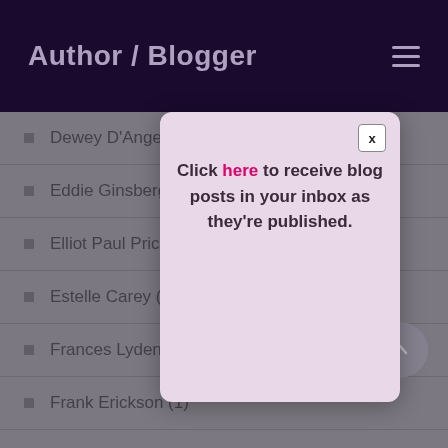Author / Blogger
Dewey D'Angelo (1)
Eddie Ginsberg
Elliot Paul Price
Estelle Carey (1
Frances Lyden (
Frank Erickson (1)
Frank Richardson (1)
George "Les" Bruneman (2)
[Figure (screenshot): Popup modal with close button (x) and text: Click here to receive blog posts in your inbox as they're published.]